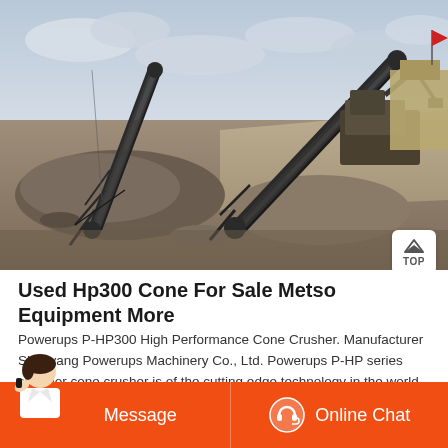[Figure (photo): Outdoor quarry/mining site with large conveyor belts, heavy machinery including an excavator, piles of crushed stone/gravel, and an overcast sky.]
Used Hp300 Cone For Sale Metso Equipment More
Powerups P-HP300 High Performance Cone Crusher. Manufacturer Shenyang Powerups Machinery Co., Ltd. Powerups P-HP series superior cone crusher is of the cutting edge technology in the world, which is developed and manufactured by our own company. They